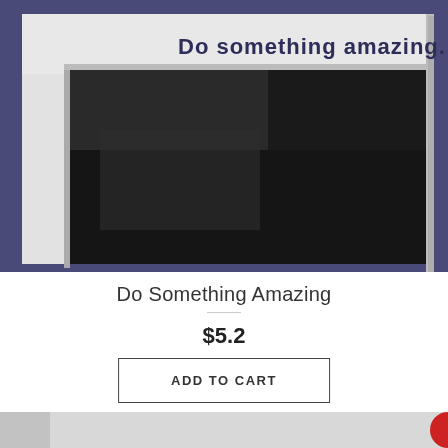[Figure (photo): Photo of a white picture frame mounted on a dark blue/purple wall. The frame shows text 'Do something amazing.' written in dark blue letters along the top inner edge of the frame. The lower portion of the frame reveals a dark interior, suggesting a chalkboard or framed board.]
Do Something Amazing
$5.2
ADD TO CART